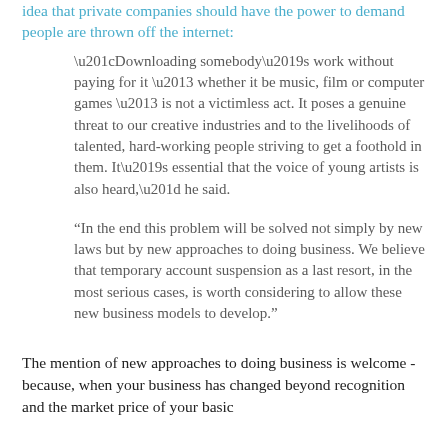idea that private companies should have the power to demand people are thrown off the internet:
“Downloading somebody’s work without paying for it – whether it be music, film or computer games – is not a victimless act. It poses a genuine threat to our creative industries and to the livelihoods of talented, hard-working people striving to get a foothold in them. It’s essential that the voice of young artists is also heard,” he said.
“In the end this problem will be solved not simply by new laws but by new approaches to doing business. We believe that temporary account suspension as a last resort, in the most serious cases, is worth considering to allow these new business models to develop.”
The mention of new approaches to doing business is welcome - because, when your business has changed beyond recognition and the market price of your basic